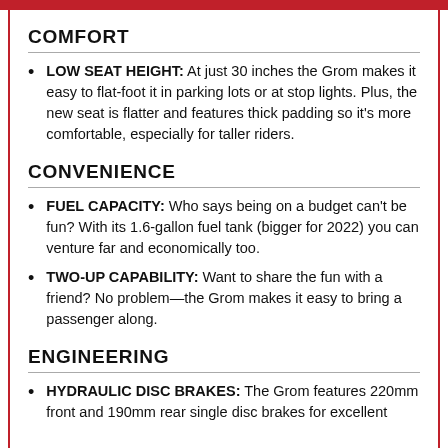COMFORT
LOW SEAT HEIGHT: At just 30 inches the Grom makes it easy to flat-foot it in parking lots or at stop lights. Plus, the new seat is flatter and features thick padding so it's more comfortable, especially for taller riders.
CONVENIENCE
FUEL CAPACITY: Who says being on a budget can't be fun? With its 1.6-gallon fuel tank (bigger for 2022) you can venture far and economically too.
TWO-UP CAPABILITY: Want to share the fun with a friend? No problem—the Grom makes it easy to bring a passenger along.
ENGINEERING
HYDRAULIC DISC BRAKES: The Grom features 220mm front and 190mm rear single disc brakes for excellent